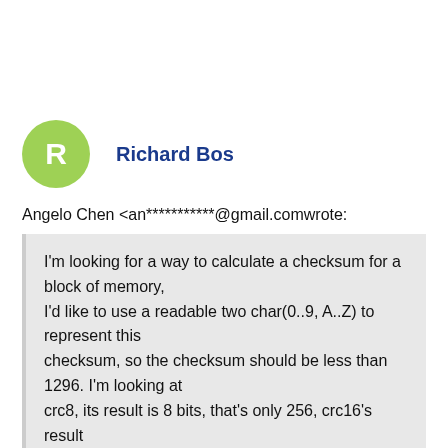Richard Bos
Angelo Chen <an***********@gmail.comwrote:
I'm looking for a way to calculate a checksum for a block of memory,
I'd like to use a readable two char(0..9, A..Z) to represent this
checksum, so the checksum should be less than 1296. I'm looking at
crc8, its result is 8 bits, that's only 256, crc16's result is 65535,
that's more than what the two char can